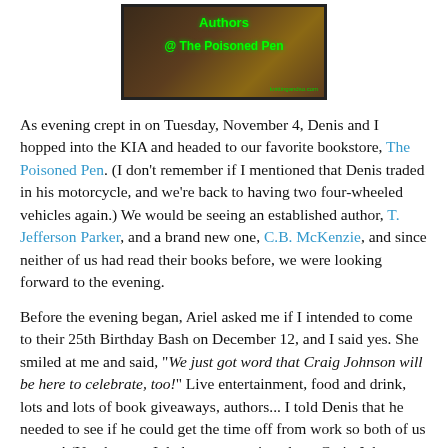[Figure (photo): Photo of Authors at The Poisoned Pen bookstore with green neon-style text overlay on a dark background]
As evening crept in on Tuesday, November 4, Denis and I hopped into the KIA and headed to our favorite bookstore, The Poisoned Pen. (I don't remember if I mentioned that Denis traded in his motorcycle, and we're back to having two four-wheeled vehicles again.) We would be seeing an established author, T. Jefferson Parker, and a brand new one, C.B. McKenzie, and since neither of us had read their books before, we were looking forward to the evening.
Before the evening began, Ariel asked me if I intended to come to their 25th Birthday Bash on December 12, and I said yes. She smiled at me and said, "We just got word that Craig Johnson will be here to celebrate, too!" Live entertainment, food and drink, lots and lots of book giveaways, authors... I told Denis that he needed to see if he could get the time off from work so both of us can go! (You know... I do have a question about Craig Johnson, though